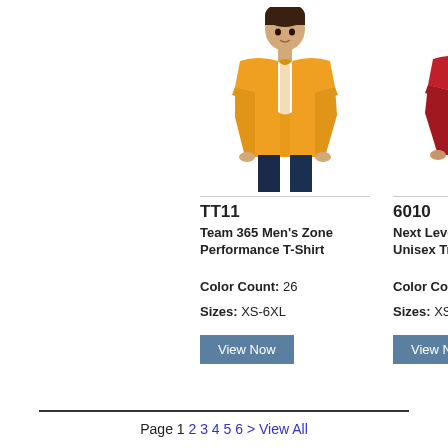[Figure (photo): Man wearing yellow/gold short-sleeve crew neck t-shirt, product TT11]
TT11
Team 365 Men's Zone Performance T-Shirt
Color Count: 26
Sizes: XS-6XL
View Now
[Figure (photo): Man wearing red short-sleeve crew neck t-shirt, product 6010]
6010
Next Level Apparel Unisex Triblend T
Color Count: 2
Sizes: XS-3XL
View Now
Page 1 2 3 4 5 6 > View All